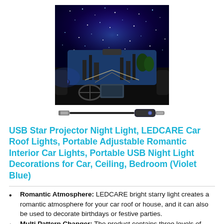[Figure (photo): Product photo: car interior with blue/violet star projector light illuminating the roof with stars. A USB cable with LED projector device shown below.]
USB Star Projector Night Light, LEDCARE Car Roof Lights, Portable Adjustable Romantic Interior Car Lights, Portable USB Night Light Decorations for Car, Ceiling, Bedroom (Violet Blue)
Romantic Atmosphere: LEDCARE bright starry light creates a romantic atmosphere for your car roof or house, and it can also be used to decorate birthdays or festive parties.
Multi Pattern Changer: The product contains three levels of...